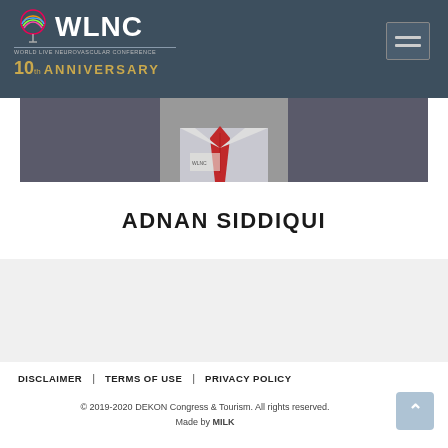WLNC WORLD LIVE NEUROVASCULAR CONFERENCE 10th ANNIVERSARY
[Figure (photo): Photo of Adnan Siddiqui, partial view showing upper body with tie]
ADNAN SIDDIQUI
DISCLAIMER | TERMS OF USE | PRIVACY POLICY
© 2019-2020 DEKON Congress & Tourism. All rights reserved. Made by MILK